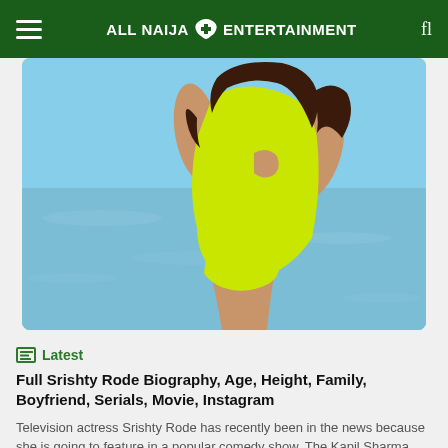ALL NAIJA ENTERTAINMENT
[Figure (photo): Woman in yellow-green swimsuit at beach, torso and lower body visible, blue water background]
Latest
Full Srishty Rode Biography, Age, Height, Family, Boyfriend, Serials, Movie, Instagram
Television actress Srishty Rode has recently been in the news because she is going to feature in a popular comedy show, The Kapil Sharma Show, know her age and boyfriend Having been in Bigg Boss 12 and Ishqbaaz four years ago, actress Srishty Rode is getting ready to return to television as she will shortly [...]